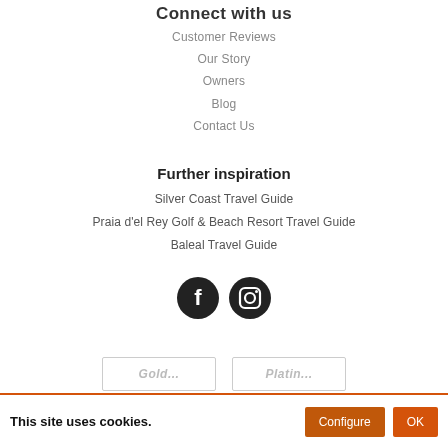Connect with us
Customer Reviews
Our Story
Owners
Blog
Contact Us
Further inspiration
Silver Coast Travel Guide
Praia d'el Rey Golf & Beach Resort Travel Guide
Baleal Travel Guide
[Figure (illustration): Facebook and Instagram circular social media icons]
This site uses cookies.
Configure
OK